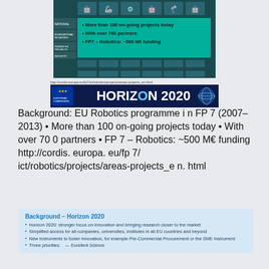[Figure (screenshot): Table/grid image showing EU robotics projects with robot icons and green panel listing: More than 100 on-going projects today, With over 700 partners, FP7 – Robotics: ~500 M€ funding]
[Figure (screenshot): Horizon 2020 European Commission banner with URL http://cordis.europa.eu/fp7/ict/robotics/projects/areas-projects_en.html]
Background: EU Robotics programme in FP 7 (2007– 2013) • More than 100 on-going projects today • With over 700 partners • FP 7 – Robotics: ~500 M€ funding http://cordis.europa.eu/fp7/ict/robotics/projects/areas-projects_en.html
Background – Horizon 2020
Horizon 2020: stronger focus on innovation and bringing research closer to the market
Simplified access for all companies, universities, institutes in all EU countries and beyond
New instruments to foster innovation, for example Pre-Commercial Procurement or the SME Instrument
Three priorities:
— Excellent Science
— industrial leadership (this is where robotics will be situated)